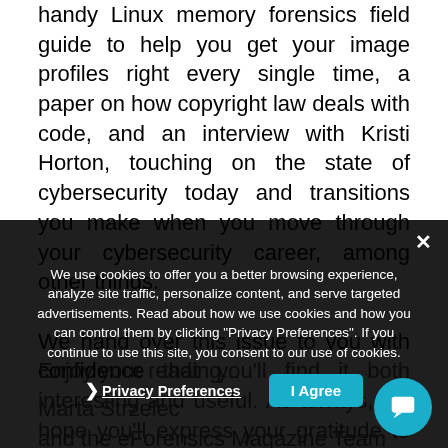handy Linux memory forensics field guide to help you get your image profiles right every single time, a paper on how copyright law deals with code, and an interview with Kristi Horton, touching on the state of cybersecurity today and transitions you make when you move through your cybersecurity career, among other things.
We hand over this issue to you with confidence that you'll find it both interesting and useful. As always, we hope you'll express your gratitude to our beloved contributors and specialists, for their invaluable input into this magazine.
Enjoy your reading...
Marta Strzelec
and the eForensics Magazine Team
We use cookies to offer you a better browsing experience, analyze site traffic, personalize content, and serve targeted advertisements. Read about how we use cookies and how you can control them by clicking "Privacy Preferences". If you continue to use this site, you consent to our use of cookies.